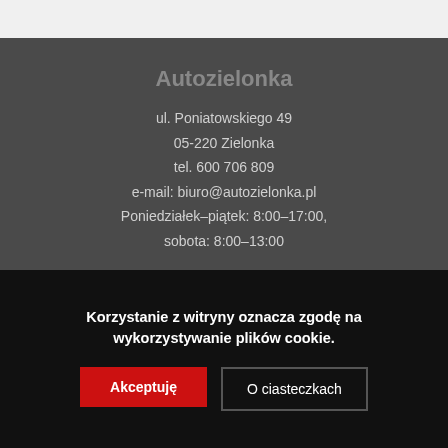Autozielonka
ul. Poniatowskiego 49
05-220 Zielonka
tel. 600 706 809
e-mail: biuro@autozielonka.pl
Poniedziałek–piątek: 8:00–17:00,
sobota: 8:00–13:00
Informacje
Regulamin sklepu
Płatności i dostawa
Zwroty i reklamacje
Prywatność
Korzystanie z witryny oznacza zgodę na wykorzystywanie plików cookie.
Akceptuję
O ciasteczkach